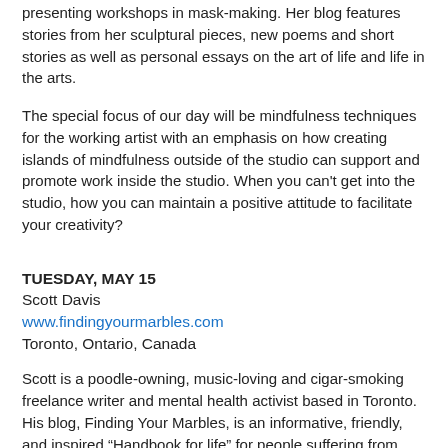presenting workshops in mask-making. Her blog features stories from her sculptural pieces, new poems and short stories as well as personal essays on the art of life and life in the arts.
The special focus of our day will be mindfulness techniques for the working artist with an emphasis on how creating islands of mindfulness outside of the studio can support and promote work inside the studio. When you can't get into the studio, how you can maintain a positive attitude to facilitate your creativity?
TUESDAY, MAY 15
Scott Davis
www.findingyourmarbles.com
Toronto, Ontario, Canada
Scott is a poodle-owning, music-loving and cigar-smoking freelance writer and mental health activist based in Toronto. His blog, Finding Your Marbles, is an informative, friendly, and inspired “Handbook for life” for people suffering from